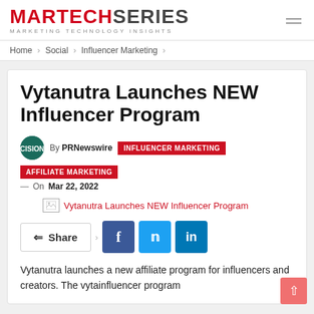MARTECHSERIES — MARKETING TECHNOLOGY INSIGHTS
Home > Social > Influencer Marketing >
Vytanutra Launches NEW Influencer Program
By PRNewswire  INFLUENCER MARKETING  AFFILIATE MARKETING
— On Mar 22, 2022
[Figure (illustration): Broken image placeholder with link text: Vytanutra Launches NEW Influencer Program]
Share (social share buttons: Facebook, Twitter, LinkedIn)
Vytanutra launches a new affiliate program for influencers and creators. The vytainfluencer program